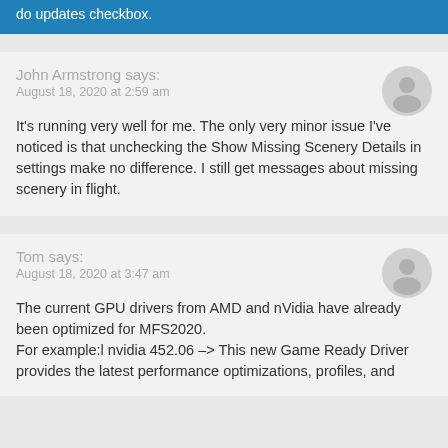do updates checkbox.
John Armstrong says:
August 18, 2020 at 2:59 am

It's running very well for me. The only very minor issue I've noticed is that unchecking the Show Missing Scenery Details in settings make no difference. I still get messages about missing scenery in flight.
Tom says:
August 18, 2020 at 3:47 am

The current GPU drivers from AMD and nVidia have already been optimized for MFS2020.
For example:l nvidia 452.06 -> This new Game Ready Driver provides the latest performance optimizations, profiles, and